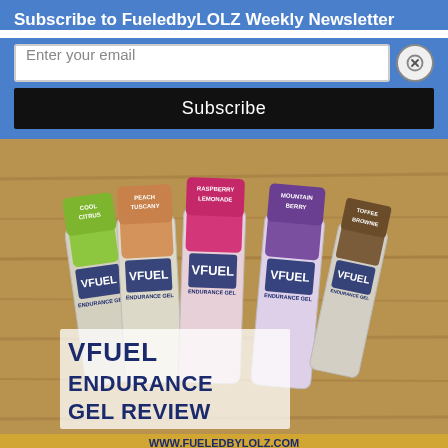Subscribe to FueledbyLOLZ Weekly Newsletter
Enter your email
Subscribe
[Figure (photo): VFuel Endurance Gel packets in various flavors (Cool Citrus, Peach Tuscany, Raspberry Lemonade, Mountain Berry, Toffee Brownie) arranged on a wooden surface with overlay text reading VFUEL ENDURANCE GEL REVIEW and www.fueledbylolz.com]